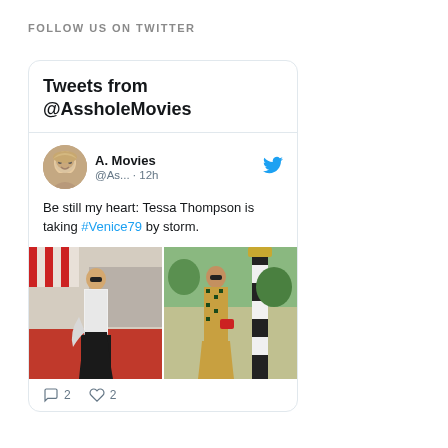FOLLOW US ON TWITTER
Tweets from @AssholeMovies
A. Movies @As... · 12h
Be still my heart: Tessa Thompson is taking #Venice79 by storm.
[Figure (photo): Two photos of Tessa Thompson at Venice film festival. Left photo: woman in white strapless outfit on red carpet. Right photo: woman in patterned dress outdoors near striped pole.]
2  2